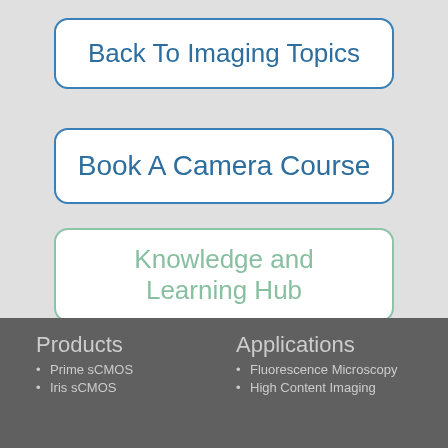[Figure (other): Button with blue border labeled 'Back To Imaging Topics']
[Figure (other): Button with blue border labeled 'Book A Camera Course']
[Figure (other): Button with green border labeled 'Knowledge and Learning Hub']
Products
Prime sCMOS
Iris sCMOS
Applications
Fluorescence Microscopy
High Content Imaging